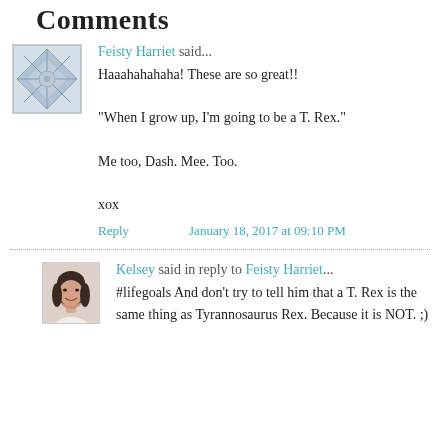Comments
[Figure (illustration): Avatar image for Feisty Harriet: geometric snowflake/star pattern in blue-grey tones on white background]
Feisty Harriet said...
Haaahahahaha! These are so great!!

"When I grow up, I'm going to be a T. Rex."

Me too, Dash. Mee. Too.

xox
Reply    January 18, 2017 at 09:10 PM
[Figure (photo): Avatar photo of Kelsey: a woman with dark hair, smiling, head and shoulders shot]
Kelsey said in reply to Feisty Harriet...
#lifegoals And don't try to tell him that a T. Rex is the same thing as Tyrannosaurus Rex. Because it is NOT. ;)